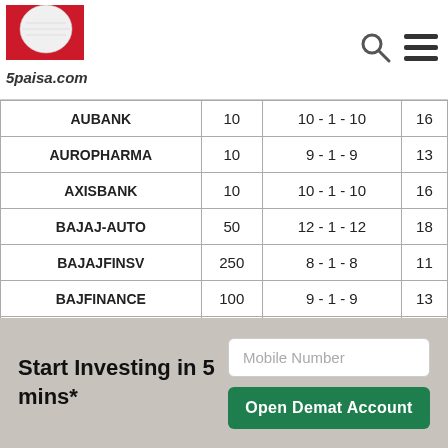5paisa.com
| Symbol | Lot Size | Strike Gap | Strikes |
| --- | --- | --- | --- |
| AUBANK | 10 | 10 - 1 - 10 | 16 |
| AUROPHARMA | 10 | 9 - 1 - 9 | 13 |
| AXISBANK | 10 | 10 - 1 - 10 | 16 |
| BAJAJ-AUTO | 50 | 12 - 1 - 12 | 18 |
| BAJAJFINSV | 250 | 8 - 1 - 8 | 11 |
| BAJFINANCE | 100 | 9 - 1 - 9 | 13 |
| BALKRISIND | 50 | 7 - 1 - 7 | 11 |
| BALRAMCHIN | 10 | 6 - 1 - 6 | 10 |
| BANDHANBNK | 5 | 10 - 1 - 10 | 16 |
| BANKBARODA | 2.5 | 6 - 1 - 6 | 10 |
Start Investing in 5 mins*
Mobile Number
Open Demat Account